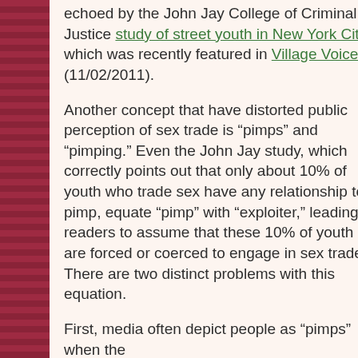echoed by the John Jay College of Criminal Justice study of street youth in New York City, which was recently featured in Village Voice (11/02/2011).
Another concept that have distorted public perception of sex trade is “pimps” and “pimping.” Even the John Jay study, which correctly points out that only about 10% of youth who trade sex have any relationship to a pimp, equate “pimp” with “exploiter,” leading readers to assume that these 10% of youth are forced or coerced to engage in sex trade. There are two distinct problems with this equation.
First, media often depict people as “pimps” when the...